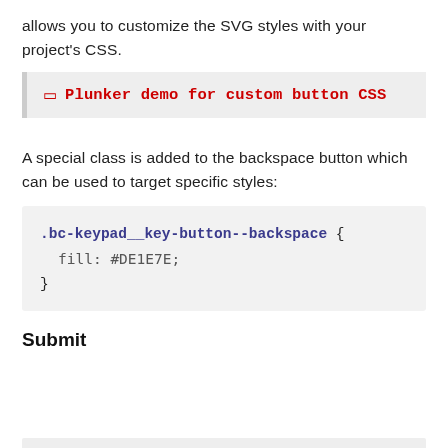allows you to customize the SVG styles with your project's CSS.
🔗 Plunker demo for custom button CSS
A special class is added to the backspace button which can be used to target specific styles:
.bc-keypad__key-button--backspace {
  fill: #DE1E7E;
}
Submit